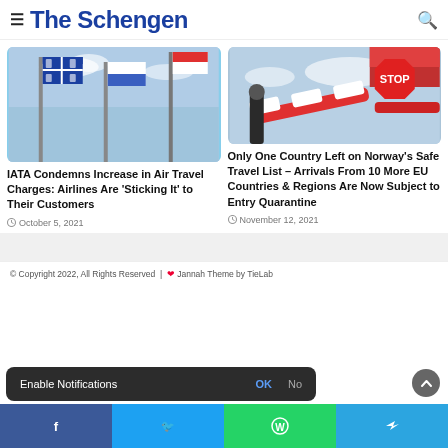The Schengen
[Figure (photo): Flags on poles against a blue sky — Quebec and other flags visible]
IATA Condemns Increase in Air Travel Charges: Airlines Are 'Sticking It' to Their Customers
October 5, 2021
[Figure (photo): A red and white barrier gate with a STOP sign octagon and red arm, against a cloudy sky]
Only One Country Left on Norway's Safe Travel List – Arrivals From 10 More EU Countries & Regions Are Now Subject to Entry Quarantine
November 12, 2021
© Copyright 2022, All Rights Reserved  |  ❤ Jannah Theme by TieLab
Enable Notifications  OK  No